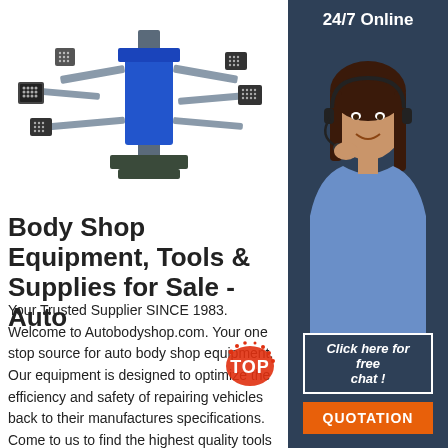[Figure (photo): Blue and silver wheel alignment machine with multiple arms and sensor targets]
[Figure (photo): 24/7 Online chat agent - woman with headset smiling, sidebar with dark blue background]
Body Shop Equipment, Tools & Supplies for Sale - Auto
Your Trusted Supplier SINCE 1983. Welcome to Autobodyshop.com. Your one stop source for auto body shop equipment. Our equipment is designed to optimize the efficiency and safety of repairing vehicles back to their manufactures specifications. Come to us to find the highest quality tools and equipment in the auto body repair industry.